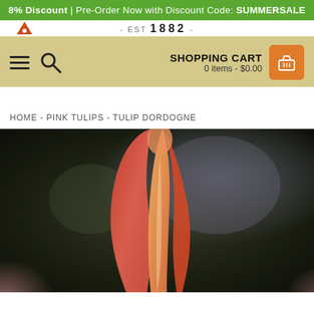8% Discount | Pre-Order Now with Discount Code: SUMMERSALE
- EST 1882 -
SHOPPING CART
0 items - $0.00
HOME - PINK TULIPS - TULIP DORDOGNE
[Figure (photo): Close-up photograph of a pink and orange tulip bud in bloom, with blurred pink tulips and dark green foliage in the background.]